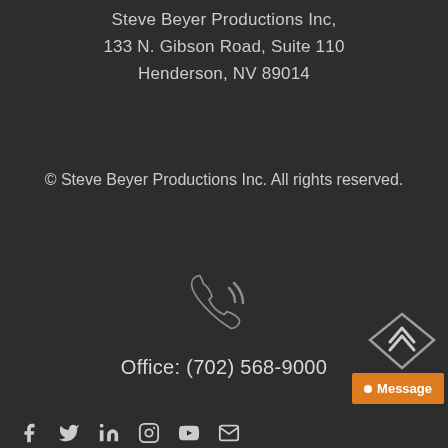Steve Beyer Productions Inc,
133 N. Gibson Road, Suite 110
Henderson, NV 89014
© Steve Beyer Productions Inc. All rights reserved.
[Figure (illustration): Phone/call icon with signal waves, outline style, light gray on dark background]
Office: (702) 568-9000
[Figure (illustration): Diamond/chevron up scroll-to-top button in lower right corner]
[Figure (illustration): Orange Message chat button with white dot and text 'Message']
[Figure (illustration): Row of social media icons: Facebook, Twitter, LinkedIn, Instagram, YouTube, and one more]